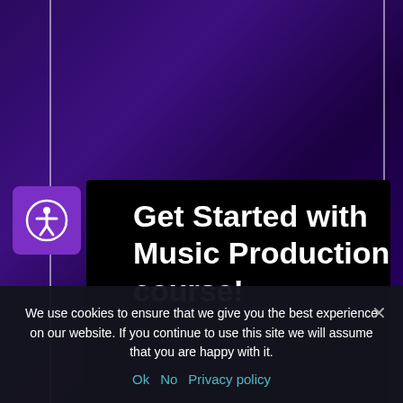[Figure (screenshot): Website screenshot showing a music production course page with dark purple gradient background, accessibility icon button, and a video player area with the course title]
Get Started with Music Production course!
We use cookies to ensure that we give you the best experience on our website. If you continue to use this site we will assume that you are happy with it.
Ok  No  Privacy policy